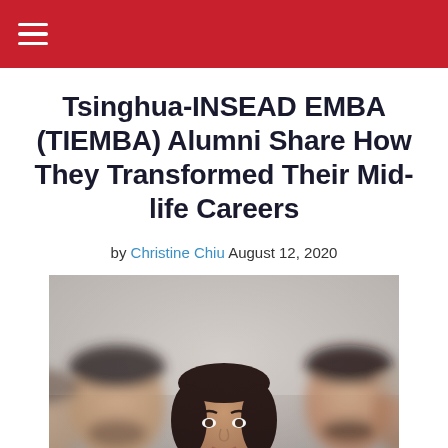Tsinghua-INSEAD EMBA (TIEMBA) Alumni Share How They Transformed Their Mid-life Careers
by Christine Chiu August 12, 2020
[Figure (photo): Group of business professionals seated in a classroom or conference setting, attentively listening. Multiple individuals visible including a woman with dark hair in the center foreground and men with beards on either side.]